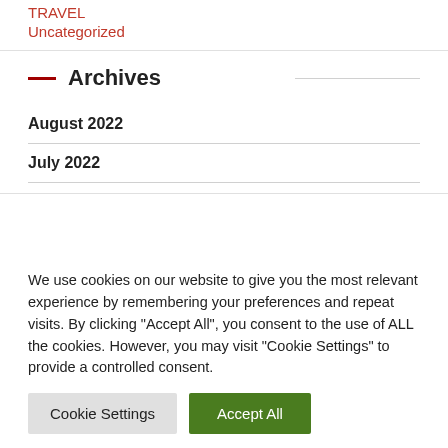TRAVEL
Uncategorized
Archives
August 2022
July 2022
We use cookies on our website to give you the most relevant experience by remembering your preferences and repeat visits. By clicking "Accept All", you consent to the use of ALL the cookies. However, you may visit "Cookie Settings" to provide a controlled consent.
Cookie Settings | Accept All